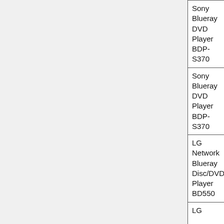| Device | Firmware | Setting | Works |
| --- | --- | --- | --- |
| Sony Blueray DVD Player BDP-S370 | MO3.R.511 | forced 1080p | no |
| Sony Blueray DVD Player BDP-S370 | MO3.R.511 | auto + truecimena | yes |
| LG Network Blueray Disc/DVD Player BD550 | Main Ver: BD4.380.00; Servo Ver: H08LGN0902 | forced 480p | yes |
| LG |  |  |  |